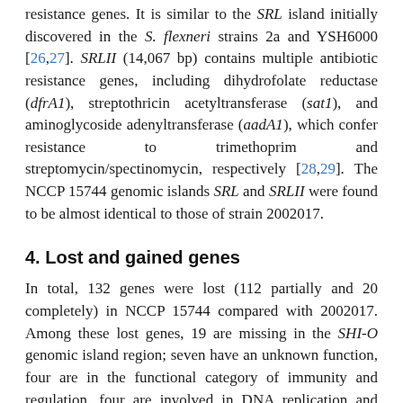resistance genes. It is similar to the SRL island initially discovered in the S. flexneri strains 2a and YSH6000 [26,27]. SRLII (14,067 bp) contains multiple antibiotic resistance genes, including dihydrofolate reductase (dfrA1), streptothricin acetyltransferase (sat1), and aminoglycoside adenyltransferase (aadA1), which confer resistance to trimethoprim and streptomycin/spectinomycin, respectively [28,29]. The NCCP 15744 genomic islands SRL and SRLII were found to be almost identical to those of strain 2002017.
4. Lost and gained genes
In total, 132 genes were lost (112 partially and 20 completely) in NCCP 15744 compared with 2002017. Among these lost genes, 19 are missing in the SHI-O genomic island region; seven have an unknown function, four are in the functional category of immunity and regulation, four are involved in DNA replication and recombination, three in lysis, and one gene is related to DNA packaging (Table 3). Meanwhile, on